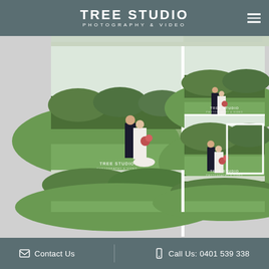TREE STUDIO PHOTOGRAPHY & VIDEO
[Figure (photo): Wedding photography portfolio grid showing a couple (groom in dark suit, bride in white gown with bouquet) posing on a green grassy hillside with trees in background. Multiple shots shown: full-length portrait, medium shot, and partial bottom crop. Each photo has 'Tree Studio Photography & Video' watermark. Layout shows left column with one large photo and right column with two photos stacked.]
Contact Us   Call Us: 0401 539 338